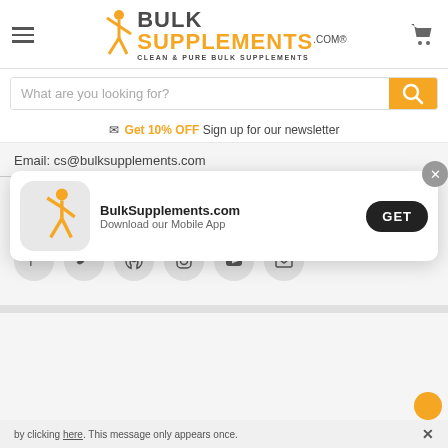[Figure (logo): BulkSupplements.com logo with orange stick figure, bold text BULK SUPPLEMENTS.com, tagline CLEAN & PURE BULK SUPPLEMENTS]
[Figure (screenshot): Search bar with placeholder text 'What are you looking for?' and orange search button]
⊠ Get 10% OFF Sign up for our newsletter
Email: cs@bulksupplements.com
Follow Us
[Figure (infographic): Social media icons: Facebook, Twitter, Pinterest, Instagram, YouTube, Email in grey circles]
[Figure (screenshot): App download popup: BulkSupplements.com icon, text 'BulkSupplements.com Download our Mobile App', GET button, X close button]
by clicking here. This message only appears once.